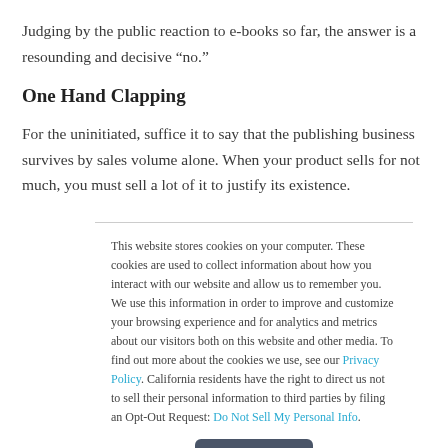Judging by the public reaction to e-books so far, the answer is a resounding and decisive “no.”
One Hand Clapping
For the uninitiated, suffice it to say that the publishing business survives by sales volume alone. When your product sells for not much, you must sell a lot of it to justify its existence.
This website stores cookies on your computer. These cookies are used to collect information about how you interact with our website and allow us to remember you. We use this information in order to improve and customize your browsing experience and for analytics and metrics about our visitors both on this website and other media. To find out more about the cookies we use, see our Privacy Policy. California residents have the right to direct us not to sell their personal information to third parties by filing an Opt-Out Request: Do Not Sell My Personal Info.
Accept